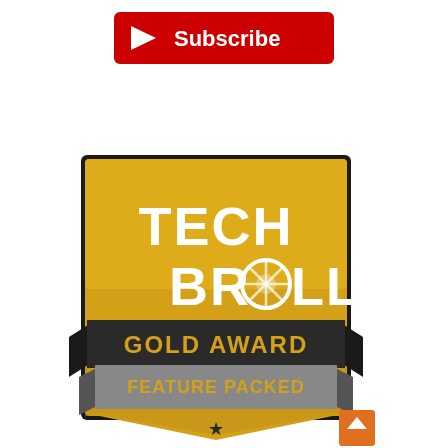[Figure (logo): YouTube-style red Subscribe button with play icon triangle at top center of page]
[Figure (logo): TechBroll Gold Award badge — a gold square shield with 'TECH BROLL' text (with a camera aperture replacing the O in BROLL), overlaid by a dark ribbon banner reading 'GOLD AWARD' in gold text and a grey ribbon reading 'FEATURE PACKED' in gold text, with stars at the bottom. An orange triangle arrow button appears bottom-right.]